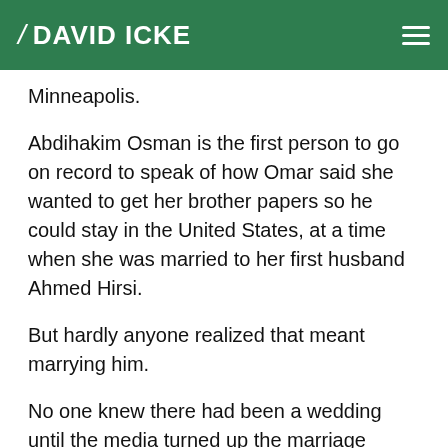DAVID ICKE
Minneapolis.
Abdihakim Osman is the first person to go on record to speak of how Omar said she wanted to get her brother papers so he could stay in the United States, at a time when she was married to her first husband Ahmed Hirsi.
But hardly anyone realized that meant marrying him.
No one knew there had been a wedding until the media turned up the marriage certificate years later,' Osman, 40, exclusively told DailyMail.com